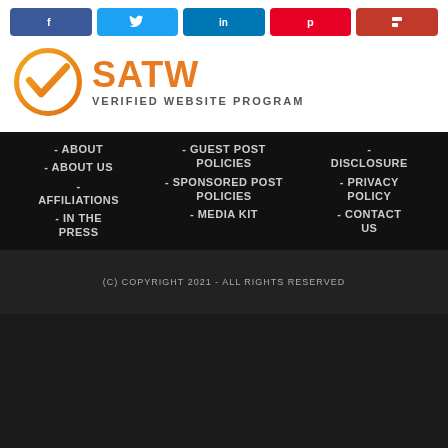[Figure (infographic): Social share buttons: Facebook, Twitter, LinkedIn, Pinterest, Flipboard]
[Figure (logo): SATW Verified Website Program logo with orange checkmark circle]
- ABOUT
- ABOUT US
- AFFILIATIONS
- IN THE PRESS
- GUEST POST POLICIES
- SPONSORED POST POLICIES
- MEDIA KIT
- DISCLOSURE
- PRIVACY POLICY
- CONTACT US
(C) COPYRIGHT 2021 - ALL RIGHTS RESERVED